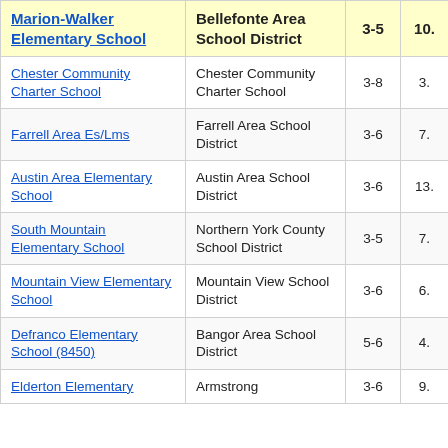| School | District | Grades | Score |
| --- | --- | --- | --- |
| Marion-Walker Elementary School | Bellefonte Area School District | 3-5 | 10. |
| Chester Community Charter School | Chester Community Charter School | 3-8 | 3. |
| Farrell Area Es/Lms | Farrell Area School District | 3-6 | 7. |
| Austin Area Elementary School | Austin Area School District | 3-6 | 13. |
| South Mountain Elementary School | Northern York County School District | 3-5 | 7. |
| Mountain View Elementary School | Mountain View School District | 3-6 | 6. |
| Defranco Elementary School (8450) | Bangor Area School District | 5-6 | 4. |
| Elderton Elementary | Armstrong | 3-6 | 9. |